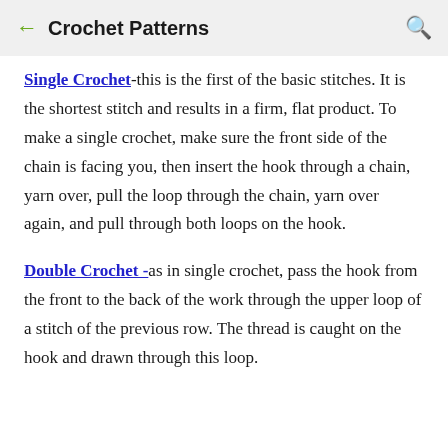← Crochet Patterns 🔍
Single Crochet-this is the first of the basic stitches. It is the shortest stitch and results in a firm, flat product. To make a single crochet, make sure the front side of the chain is facing you, then insert the hook through a chain, yarn over, pull the loop through the chain, yarn over again, and pull through both loops on the hook.
Double Crochet -as in single crochet, pass the hook from the front to the back of the work through the upper loop of a stitch of the previous row. The thread is caught on the hook and drawn through this loop.